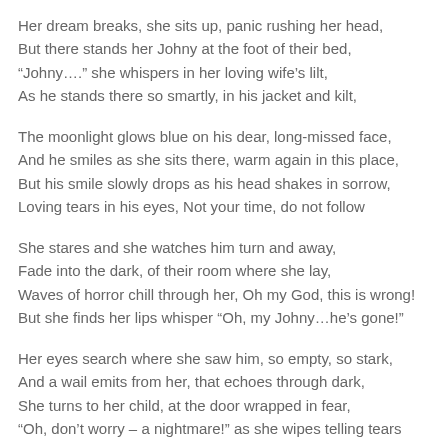Her dream breaks, she sits up, panic rushing her head,
But there stands her Johny at the foot of their bed,
“Johny….” she whispers in her loving wife’s lilt,
As he stands there so smartly, in his jacket and kilt,
The moonlight glows blue on his dear, long-missed face,
And he smiles as she sits there, warm again in this place,
But his smile slowly drops as his head shakes in sorrow,
Loving tears in his eyes, Not your time, do not follow
She stares and she watches him turn and away,
Fade into the dark, of their room where she lay,
Waves of horror chill through her, Oh my God, this is wrong!
But she finds her lips whisper “Oh, my Johny…he’s gone!”
Her eyes search where she saw him, so empty, so stark,
And a wail emits from her, that echoes through dark,
She turns to her child, at the door wrapped in fear,
“Oh, don’t worry – a nightmare!” as she wipes telling tears
She knew it was coming, telegram the next day,